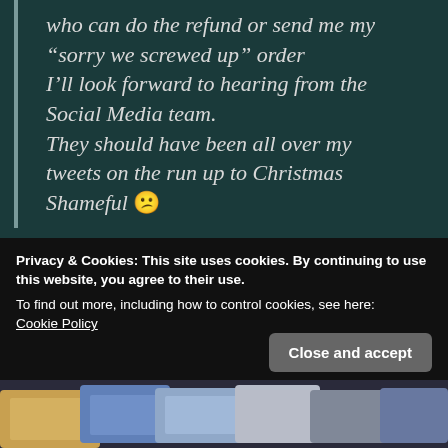who can do the refund or send me my “sorry we screwed up” order
I’ll look forward to hearing from the Social Media team.
They should have been all over my tweets on the run up to Christmas
Shameful 😕
So I was expecting a sorry card and a pack of cheap blank cards... However for some reason I got this pile of stuff in the post today
Privacy & Cookies: This site uses cookies. By continuing to use this website, you agree to their use.
To find out more, including how to control cookies, see here:
Cookie Policy
Close and accept
[Figure (photo): Bottom strip showing partial view of colorful cards or items in the post]